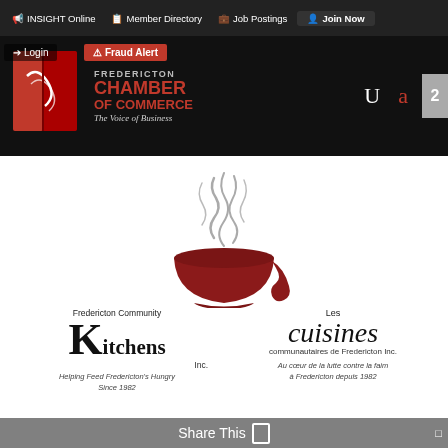INSIGHT Online | Member Directory | Job Postings | Join Now
[Figure (logo): Fredericton Chamber of Commerce – The Voice of Business logo with red book/shield icon. Login button and Fraud Alert overlay visible.]
[Figure (logo): Fredericton Community Kitchens Inc. / Les cuisines communautaires de Fredericton Inc. logo with steaming bowl graphic. Tagline: Helping Feed Fredericton's Hungry Since 1982 / Au coeur de la lutte contre la faim à Fredericton depuis 1982]
Share This